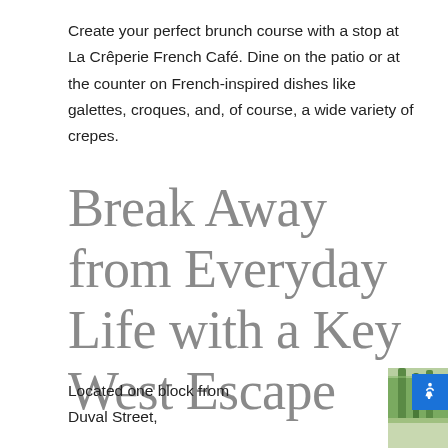Create your perfect brunch course with a stop at La Crêperie French Café. Dine on the patio or at the counter on French-inspired dishes like galettes, croques, and, of course, a wide variety of crepes.
Break Away from Everyday Life with a Key West Escape
Located one block from Duval Street,
[Figure (photo): Outdoor photo showing tropical palm trees and lush green foliage with a building visible in the background]